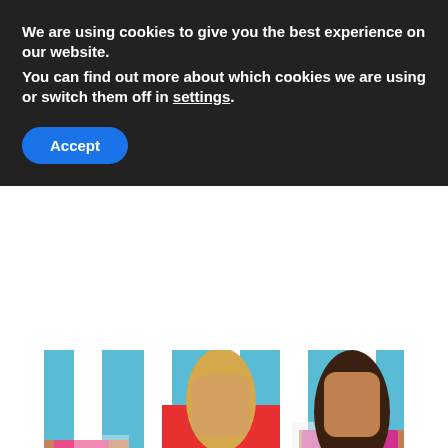We are using cookies to give you the best experience on our website.
You can find out more about which cookies we are using or switch them off in settings.
Accept
[Figure (photo): Three teenage girls in colorful summer outfits (pink, red/pink tops, denim shorts) holding hands in front of a blue and white striped wall background.]
4 Tips to Encourage Tweens to Find Their Own Sense of Fashion